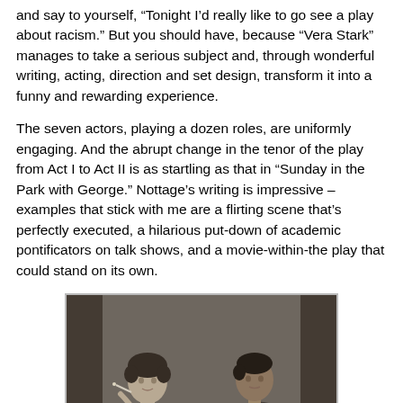and say to yourself, “Tonight I’d really like to go see a play about racism.” But you should have, because “Vera Stark” manages to take a serious subject and, through wonderful writing, acting, direction and set design, transform it into a funny and rewarding experience.
The seven actors, playing a dozen roles, are uniformly engaging. And the abrupt change in the tenor of the play from Act I to Act II is as startling as that in “Sunday in the Park with George.” Nottage’s writing is impressive – examples that stick with me are a flirting scene that’s perfectly executed, a hilarious put-down of academic pontificators on talk shows, and a movie-within-the play that could stand on its own.
[Figure (photo): Black and white photograph of a man and a woman sitting at a dining table. The woman on the left, wearing a dress, holds a cigarette and smiles. The man on the right wears a suit. They appear to be in an elegant restaurant setting with a champagne bucket visible.]